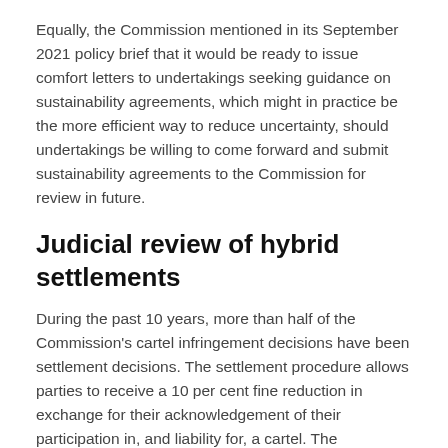Equally, the Commission mentioned in its September 2021 policy brief that it would be ready to issue comfort letters to undertakings seeking guidance on sustainability agreements, which might in practice be the more efficient way to reduce uncertainty, should undertakings be willing to come forward and submit sustainability agreements to the Commission for review in future.
Judicial review of hybrid settlements
During the past 10 years, more than half of the Commission's cartel infringement decisions have been settlement decisions. The settlement procedure allows parties to receive a 10 per cent fine reduction in exchange for their acknowledgement of their participation in, and liability for, a cartel. The settlement process proved beneficial for both sides, allowing the parties to pay lower fines and the Commission to invest fewer resources in